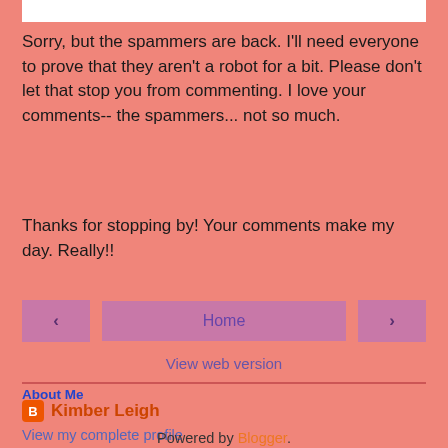Sorry, but the spammers are back. I'll need everyone to prove that they aren't a robot for a bit. Please don't let that stop you from commenting. I love your comments-- the spammers... not so much.
Thanks for stopping by! Your comments make my day. Really!!
[Figure (other): Navigation buttons: left arrow, Home button, right arrow]
View web version
About Me
Kimber Leigh
View my complete profile
Powered by Blogger.